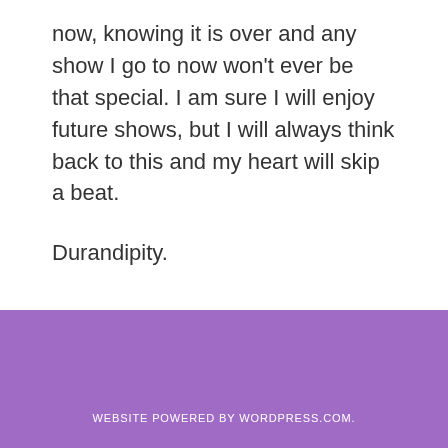now, knowing it is over and any show I go to now won't ever be that special. I am sure I will enjoy future shows, but I will always think back to this and my heart will skip a beat.
Durandipity.
(more...)
WEBSITE POWERED BY WORDPRESS.COM.